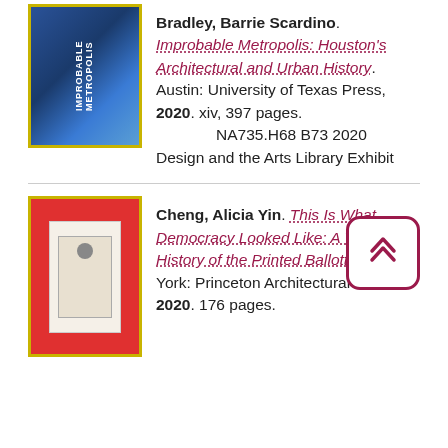[Figure (illustration): Book cover for Improbable Metropolis: Houston's Architectural and Urban History with yellow border and dark blue cityscape imagery]
Bradley, Barrie Scardino. Improbable Metropolis: Houston's Architectural and Urban History. Austin: University of Texas Press, 2020. xiv, 397 pages.
        NA735.H68 B73 2020 Design and the Arts Library Exhibit
[Figure (illustration): Book cover for This Is What Democracy Looked Like: A Visual History of the Printed Ballott with yellow border and red background showing a ballot card]
Cheng, Alicia Yin. This Is What Democracy Looked Like: A Visual History of the Printed Ballott. New York: Princeton Architectural Press, 2020. 176 pages.